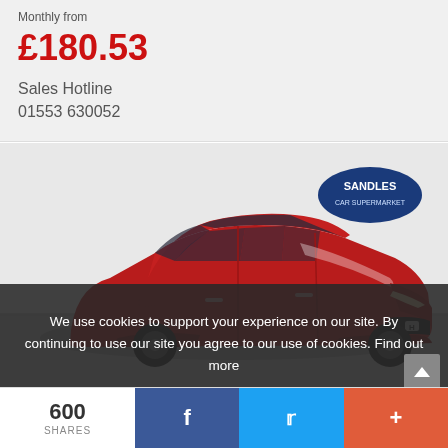Monthly from
£180.53
Sales Hotline
01553 630052
[Figure (photo): Red Honda Jazz/Fit hatchback car in a showroom with a Sandles Car Supermarket logo visible in the background]
We use cookies to support your experience on our site. By continuing to use our site you agree to our use of cookies. Find out more
600
SHARES